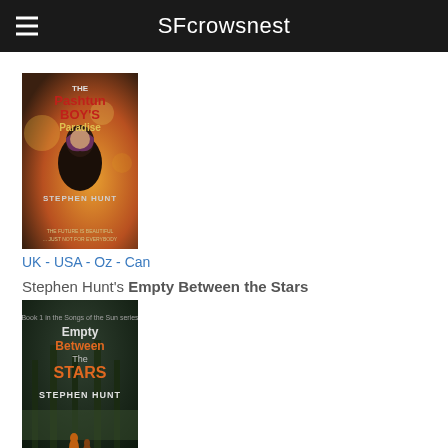SFcrowsnest
UK - USA - Oz - Can
Stephen Hunt's Empty Between the Stars
[Figure (illustration): Book cover: Empty Between the Stars by Stephen Hunt]
UK - USA - Oz - Can
Stephen Hunt's Mission to Mightodore